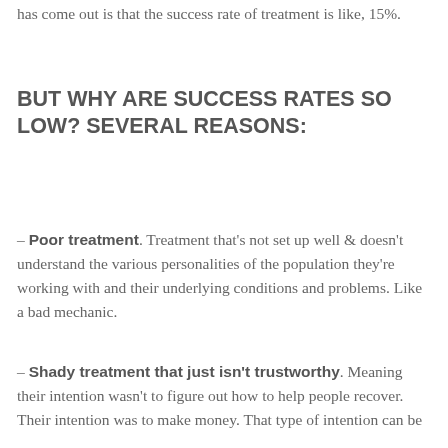has come out is that the success rate of treatment is like, 15%.
BUT WHY ARE SUCCESS RATES SO LOW? SEVERAL REASONS:
– Poor treatment. Treatment that's not set up well & doesn't understand the various personalities of the population they're working with and their underlying conditions and problems. Like a bad mechanic.
– Shady treatment that just isn't trustworthy. Meaning their intention wasn't to figure out how to help people recover. Their intention was to make money. That type of intention can be